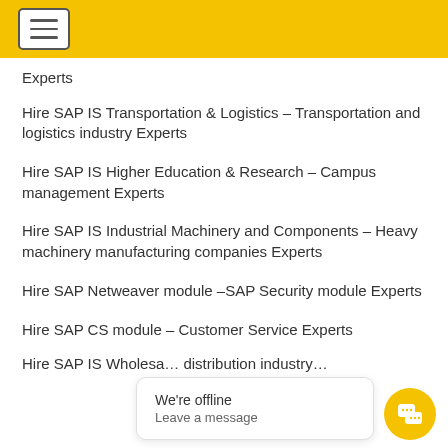[hamburger menu icon]
Experts
Hire SAP IS Transportation & Logistics – Transportation and logistics industry Experts
Hire SAP IS Higher Education & Research – Campus management Experts
Hire SAP IS Industrial Machinery and Components – Heavy machinery manufacturing companies Experts
Hire SAP Netweaver module –SAP Security module Experts
Hire SAP CS module – Customer Service Experts
Hire SAP IS Wholesa… distribution industry…